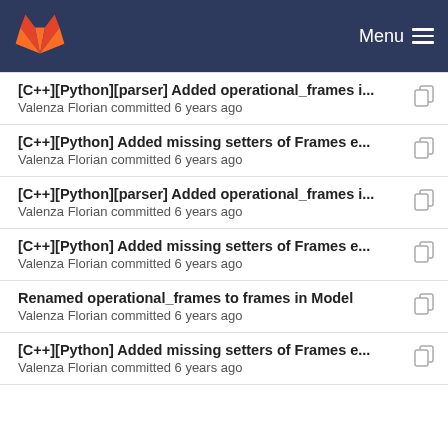Menu
[C++][Python][parser] Added operational_frames i...
Valenza Florian committed 6 years ago
[C++][Python] Added missing setters of Frames e...
Valenza Florian committed 6 years ago
[C++][Python][parser] Added operational_frames i...
Valenza Florian committed 6 years ago
[C++][Python] Added missing setters of Frames e...
Valenza Florian committed 6 years ago
Renamed operational_frames to frames in Model
Valenza Florian committed 6 years ago
[C++][Python] Added missing setters of Frames e...
Valenza Florian committed 6 years ago